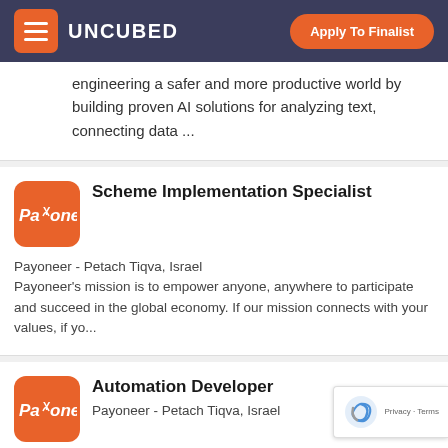UNCUBED | Apply To Finalist
engineering a safer and more productive world by building proven AI solutions for analyzing text, connecting data ...
Scheme Implementation Specialist
Payoneer - Petach Tiqva, Israel
Payoneer's mission is to empower anyone, anywhere to participate and succeed in the global economy. If our mission connects with your values, if yo...
Automation Developer
Payoneer - Petach Tiqva, Israel